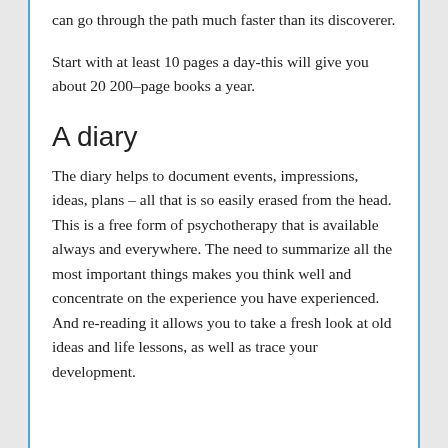can go through the path much faster than its discoverer.
Start with at least 10 pages a day-this will give you about 20 200–page books a year.
A diary
The diary helps to document events, impressions, ideas, plans – all that is so easily erased from the head. This is a free form of psychotherapy that is available always and everywhere. The need to summarize all the most important things makes you think well and concentrate on the experience you have experienced. And re-reading it allows you to take a fresh look at old ideas and life lessons, as well as trace your development.